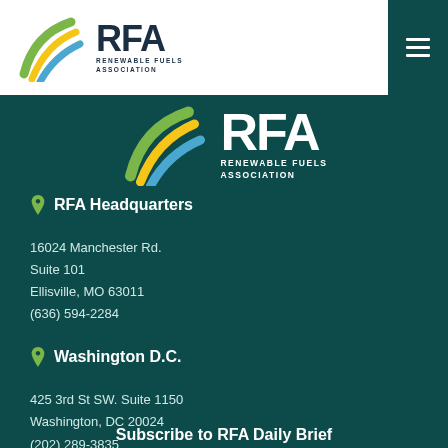[Figure (logo): RFA Renewable Fuels Association logo in dark navy on white background, top header]
[Figure (logo): RFA Renewable Fuels Association logo in white on dark teal background, centered]
RFA Headquarters
16024 Manchester Rd.
Suite 101
Ellisville, MO 63011
(636) 594-2284
Washington D.C.
425 3rd St SW. Suite 1150
Washington, DC 20024
(202) 289-3835
Subscribe to RFA Daily Brief